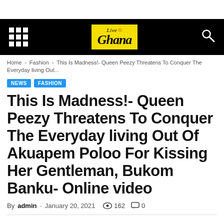[Figure (logo): Live Ghana logo on black navigation bar with grid menu icon and search icon]
Home › Fashion › This Is Madness!- Queen Peezy Threatens To Conquer The Everyday living Out...
NEWS
FASHION
This Is Madness!- Queen Peezy Threatens To Conquer The Everyday living Out Of Akuapem Poloo For Kissing Her Gentleman, Bukom Banku- Online video
By admin - January 20, 2021   162   0